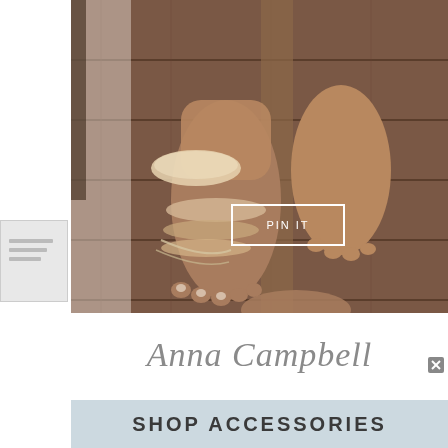[Figure (photo): Close-up photo of a person's bare feet wearing ornate beaded/crystal anklet sandal accessories, standing on a wooden deck. Lace or sheer fabric visible in background. A 'PIN IT' button overlay is visible on the image.]
[Figure (logo): Anna Campbell brand logo in cursive/italic script with a small X icon, and a light blue 'SHOP ACCESSORIES' banner beneath it.]